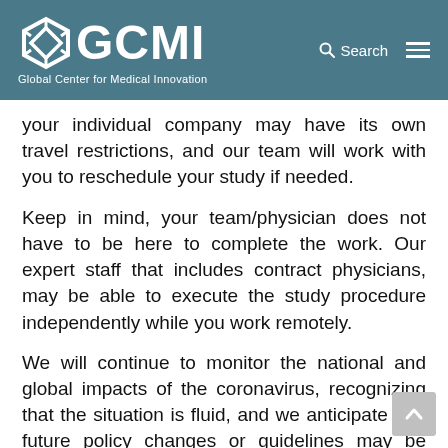GCMI — Global Center for Medical Innovation
your individual company may have its own travel restrictions, and our team will work with you to reschedule your study if needed.
Keep in mind, your team/physician does not have to be here to complete the work. Our expert staff that includes contract physicians, may be able to execute the study procedure independently while you work remotely.
We will continue to monitor the national and global impacts of the coronavirus, recognizing that the situation is fluid, and we anticipate that future policy changes or guidelines may be required over the coming weeks. We will post updates on this page and continue to post coronavirus notices as part of our meeting communications emails.